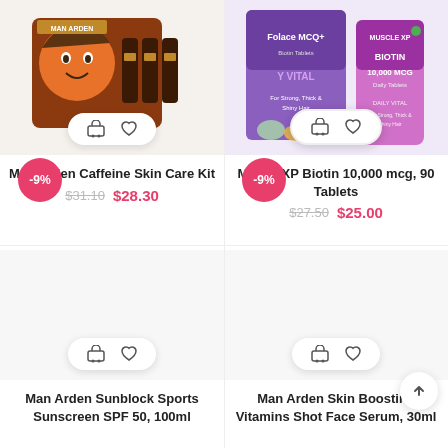[Figure (photo): Man Arden Caffeine Skin Care Kit product image - brown box with cartoon man face and product tubes]
Man Arden Caffeine Skin Care Kit
$31.10  $28.30
[Figure (photo): MuscleXP Biotin 10,000 mcg 90 Tablets product image - purple/pink packaging]
MuscleXP Biotin 10,000 mcg, 90 Tablets
$27.50  $25.00
-9%
-9%
Man Arden Sunblock Sports Sunscreen SPF 50, 100ml
Man Arden Skin Boosting Vitamins Shot Face Serum, 30ml